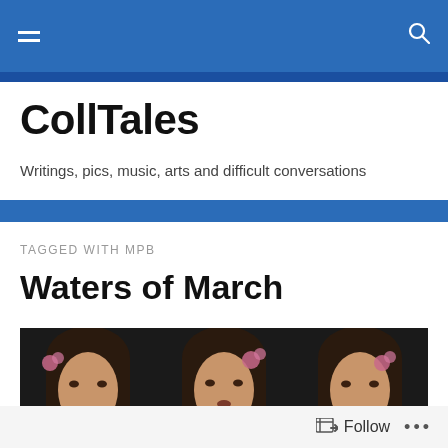CollTales – navigation bar
CollTales
Writings, pics, music, arts and difficult conversations
TAGGED WITH MPB
Waters of March
[Figure (photo): Three close-up shots of a woman with dark hair and flowers, singing into a microphone, in a dark setting]
Follow  •••